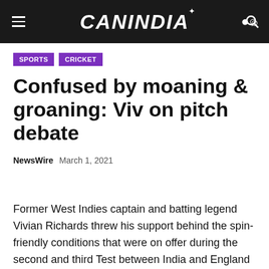CANINDIA
SPORTS
CRICKET
Confused by moaning & groaning: Viv on pitch debate
NewsWire   March 1, 2021
Former West Indies captain and batting legend Vivian Richards threw his support behind the spin-friendly conditions that were on offer during the second and third Test between India and England in Chennai and Ahmedabad